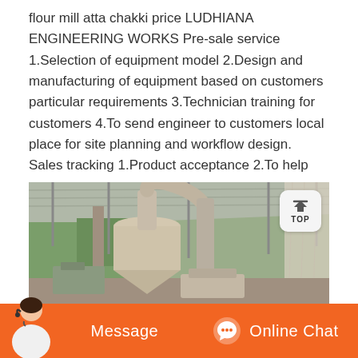flour mill atta chakki price LUDHIANA ENGINEERING WORKS Pre-sale service 1.Selection of equipment model 2.Design and manufacturing of equipment based on customers particular requirements 3.Technician training for customers 4.To send engineer to customers local place for site planning and workflow design. Sales tracking 1.Product acceptance 2.To help customer…
[Figure (photo): Industrial flour milling / atta chakki machinery inside a large open shed with corrugated metal roof. Large cyclone separator and pipes visible. Green vegetation in background. Customer service representative avatar at bottom left.]